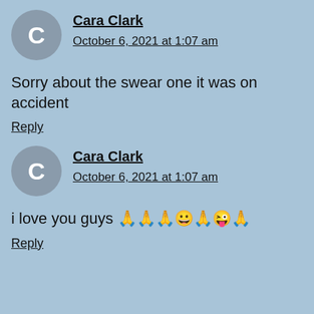[Figure (other): Avatar circle with letter C for Cara Clark]
Cara Clark
October 6, 2021 at 1:07 am
Sorry about the swear one it was on accident
Reply
[Figure (other): Avatar circle with letter C for Cara Clark]
Cara Clark
October 6, 2021 at 1:07 am
i love you guys 🙏🙏🙏😀🙏😜🙏
Reply